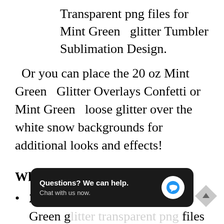Transparent png files for Mint Green   glitter Tumbler Sublimation Design.
Or you can place the 20 oz Mint Green   Glitter Overlays Confetti or Mint Green   loose glitter over the white snow backgrounds for additional looks and effects!
What's included
20 5000x 5000px loose Mint Green g... files
1... 839 px transparent png files and